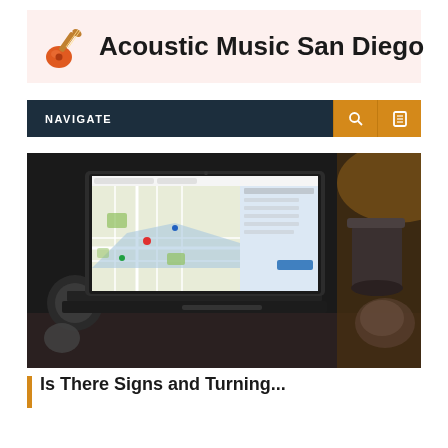[Figure (logo): Acoustic Music San Diego logo: guitar icon on pinkish background with site name in bold dark text]
NAVIGATE
[Figure (photo): Laptop computer displaying Google Maps on screen, placed on a desk with various objects in background]
Is There Signs and Turning...